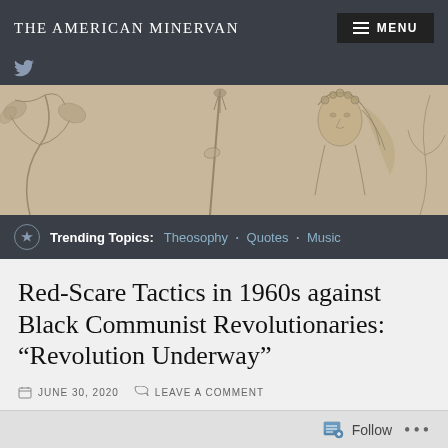THE AMERICAN MINERVAN
[Figure (illustration): Decorative classical illustration on aged parchment-colored background showing ornate figures, a crowned female figure, and decorative foliage elements in grey/sepia tones]
Trending Topics: Theosophy • Quotes • Music
Red-Scare Tactics in 1960s against Black Communist Revolutionaries: “Revolution Underway”
JUNE 30, 2020   LEAVE A COMMENT
DOCUMENTARY REPORT ON BLACK COMMUNIST REVOLUTIONARIES